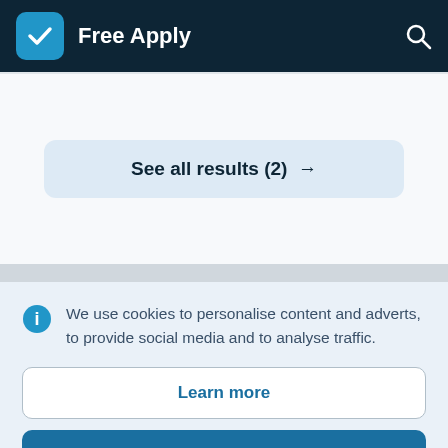Free Apply
See all results (2) →
We use cookies to personalise content and adverts, to provide social media and to analyse traffic.
Learn more
Accept